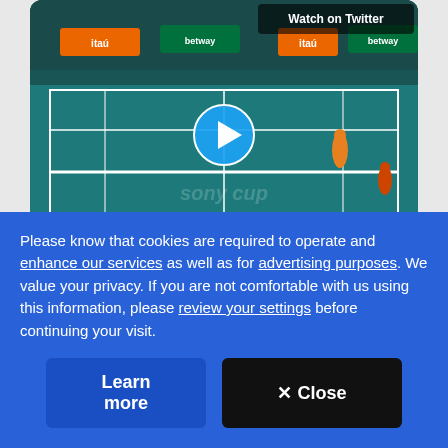[Figure (screenshot): Twitter/social media embedded video player showing a tennis match on a blue-green court with GIF badge in bottom-left and play button overlay. Sponsor banners (Itau, Betway) visible along the court edges. 'Watch on Twitter' button in top-right corner.]
5:29 PM · Mar 31, 2022
Please know that cookies are required to operate and enhance our services as well as for advertising purposes. We value your privacy. If you are not comfortable with us using this information, please review your settings before continuing your visit.
Learn more
✕ Close